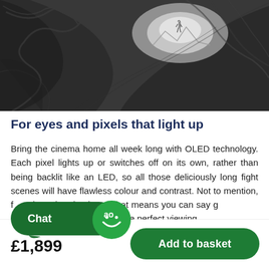[Figure (photo): Black and white photograph of a person standing in a dramatic ice cave or glacier formation, with sweeping curved ice walls leading to a bright opening in the background.]
For eyes and pixels that light up
Bring the cinema home all week long with OLED technology. Each pixel lights up or switches off on its own, rather than being backlit like an LED, so all those deliciously long fight scenes will have flawless colour and contrast. Not to mention, f...tely real and unique. That means you can say g...cking and diving to get the perfect viewing
[Figure (logo): AO chat button overlay — dark green rounded rectangle with 'Chat' text and AO smiley face logo]
£1,899
Add to basket